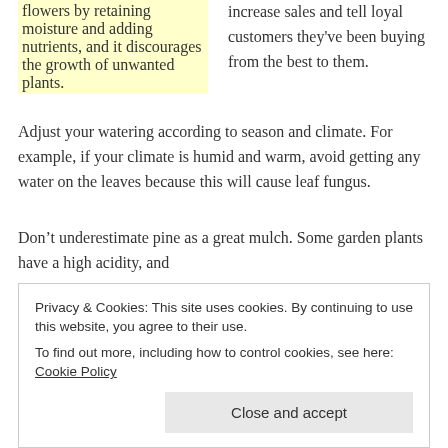flowers by retaining moisture and adding nutrients, and it discourages the growth of unwanted plants.
increase sales and tell loyal customers they've been buying from the best to them.
Adjust your watering according to season and climate. For example, if your climate is humid and warm, avoid getting any water on the leaves because this will cause leaf fungus.
Don't underestimate pine as a great mulch. Some garden plants have a high acidity, and
Privacy & Cookies: This site uses cookies. By continuing to use this website, you agree to their use.
To find out more, including how to control cookies, see here: Cookie Policy
Close and accept